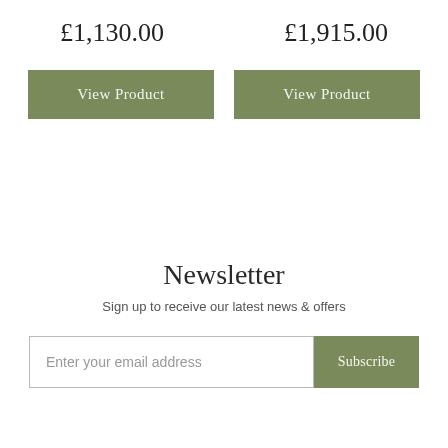£1,130.00
£1,915.00
View Product
View Product
Newsletter
Sign up to receive our latest news & offers
Enter your email address
Subscribe